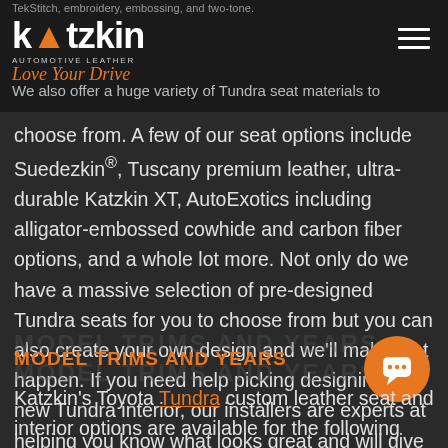TekStitch, embroidery, embossing, and two-tone.
[Figure (logo): Katzkin Automotive Leather logo with orange accent, white bold text, and script tagline 'Love Your Drive']
We also offer a huge variety of Tundra seat materials to choose from. A few of our seat options include Suedezkin®, Tuscany premium leather, ultra-durable Katzkin XT, AutoExotics including alligator-embossed cowhide and carbon fiber options, and a whole lot more. Not only do we have a massive selection of pre-designed Tundra seats for you to choose from but you can also create your own design and we’ll make that happen. If you need help picking designing your new Tundra interior, our installers are experts at helping you know what looks great and will give you helpful advice.
MODEL TRIMS AND YEARS
Katzkin’s Toyota Tundra custom leather seat and interior options are available for the following model years: